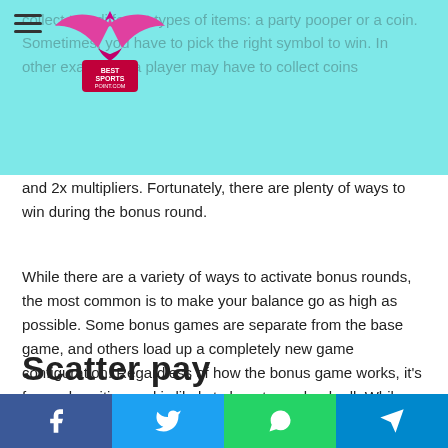Best Sports Point logo and navigation header
collect two different types of items: a party pooper or a coin. Sometimes, you have to pick the right symbol to win. In other examples, a player may have to collect coins and 2x multipliers. Fortunately, there are plenty of ways to win during the bonus round.
While there are a variety of ways to activate bonus rounds, the most common is to make your balance go as high as possible. Some bonus games are separate from the base game, and others load up a completely new game configuration. Regardless of how the bonus game works, it's fun and exciting and is likely to boost your bankroll. While bonus games do not replace the casino's balance, they can still prove to be worthwhile.
Scatter pay
Facebook Twitter WhatsApp Telegram share buttons